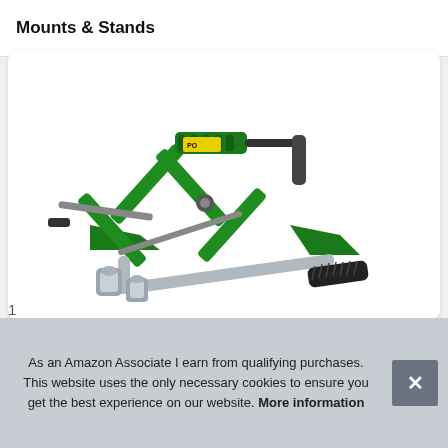Mounts & Stands
[Figure (photo): A green scissor car jack with a metal crank bar, alongside a lug wrench with two socket attachments — automotive lifting and tire-changing tools shown on white background.]
As an Amazon Associate I earn from qualifying purchases. This website uses the only necessary cookies to ensure you get the best experience on our website. More information